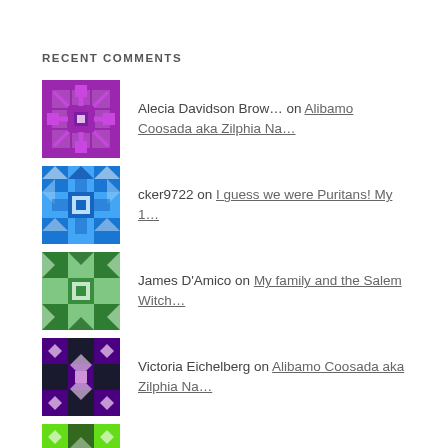RECENT COMMENTS
Alecia Davidson Brow… on Alibamo Coosada aka Zilphia Na…
cker9722 on I guess we were Puritans! My 1…
James D'Amico on My family and the Salem Witch…
Victoria Eichelberg on Alibamo Coosada aka Zilphia Na…
Shirley Ward on Alibamo Coosada aka Zilphia Na…
ARCHIVES